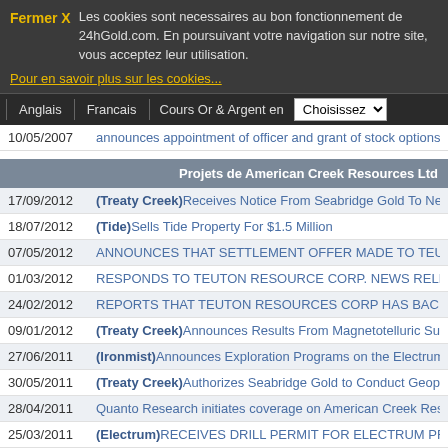Fermer X   Les cookies sont necessaires au bon fonctionnement de 24hGold.com. En poursuivant votre navigation sur notre site, vous acceptez leur utilisation.
Pour en savoir plus sur les cookies...
Anglais | Francais | Cours Or & Argent en | Choisissez
10/05/2007   announces appointment of officer and grant of stock options
Projets de American Creek Resources Ltd
17/09/2012   (Treaty Creek)Receives Notice From Seabridge Gold To Negotiate Access R
18/07/2012   (Tide)Sells Tide Property For $1.5 Million
07/05/2012   ANNOUNCES THAT SETTLEMENT OFFER MADE TO TEUTON RESOURC
01/03/2012   RESPONDS TO TEUTON RESOURCE CORP. NEWS RELEASE
24/02/2012   REPORTS THAT TEUTON RESOURCES CORP HAS BACKED OUT OF D
09/01/2012   (Treaty Creek)Announces Results From Magnetotelluric Survey on its Treat
27/06/2011   (Ironmist)Announces Exploration Programs on the Electrum and Ironmist ...
30/05/2011   (Treaty Creek)Authorizes Seabridge Gold to Conduct Geophysical Survey o
28/04/2011   Quanto Research initiates coverage on American Creek Resourc...
25/03/2011   (Electrum)RECEIVES DRILL PERMIT FOR ELECTRUM PROJECT
08/07/2010   (Electrum)Samples 694 g/t (20.24 oz/t) gold
12/01/2010   (Treaty Creek)Treaty Creek discovery hole runs 241 metres of 0.80 g/t gold